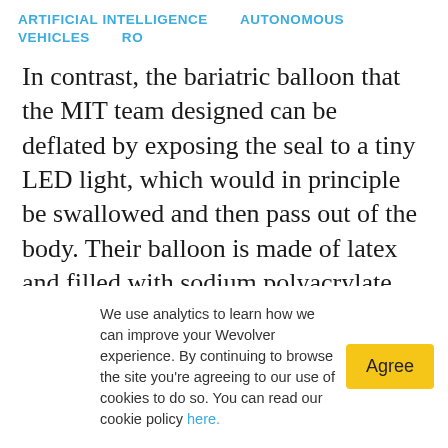ARTIFICIAL INTELLIGENCE   AUTONOMOUS VEHICLES   RO
In contrast, the bariatric balloon that the MIT team designed can be deflated by exposing the seal to a tiny LED light, which would in principle be swallowed and then pass out of the body. Their balloon is made of latex and filled with sodium polyacrylate, which absorbs water. In this study, the researchers tested the balloons in pigs and found that the balloons swelled up as soon as they were placed in the stomach. When
We use analytics to learn how we can improve your Wevolver experience. By continuing to browse the site you're agreeing to our use of cookies to do so. You can read our cookie policy here.